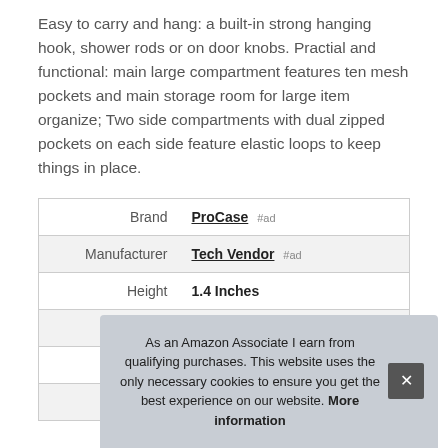Easy to carry and hang: a built-in strong hanging hook, shower rods or on door knobs. Practial and functional: main large compartment features ten mesh pockets and main storage room for large item organize; Two side compartments with dual zipped pockets on each side feature elastic loops to keep things in place.
|  |  |
| --- | --- |
| Brand | ProCase #ad |
| Manufacturer | Tech Vendor #ad |
| Height | 1.4 Inches |
| Length | 9 Inches |
| P |  |
| Model |  |
As an Amazon Associate I earn from qualifying purchases. This website uses the only necessary cookies to ensure you get the best experience on our website. More information